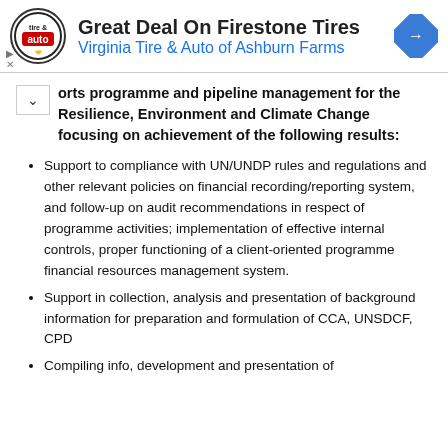[Figure (other): Advertisement banner for Virginia Tire & Auto of Ashburn Farms featuring a circular logo, bold title 'Great Deal On Firestone Tires', blue subtitle 'Virginia Tire & Auto of Ashburn Farms', and a blue diamond navigation arrow icon on the right.]
orts programme and pipeline management for the Resilience, Environment and Climate Change focusing on achievement of the following results:
Support to compliance with UN/UNDP rules and regulations and other relevant policies on financial recording/reporting system, and follow-up on audit recommendations in respect of programme activities; implementation of effective internal controls, proper functioning of a client-oriented programme financial resources management system.
Support in collection, analysis and presentation of background information for preparation and formulation of CCA, UNSDCF, CPD
Compiling info, development and presentation of